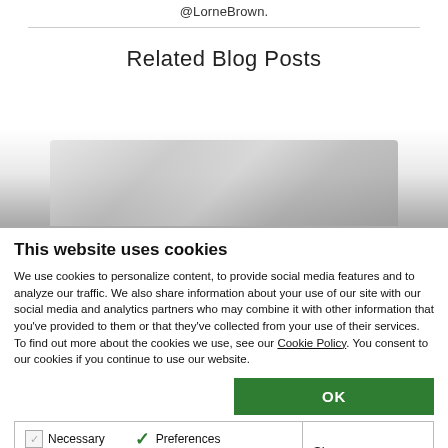@LorneBrown.
Related Blog Posts
[Figure (photo): Faded blog post thumbnail image area]
This website uses cookies
We use cookies to personalize content, to provide social media features and to analyze our traffic. We also share information about your use of our site with our social media and analytics partners who may combine it with other information that you've provided to them or that they've collected from your use of their services. To find out more about the cookies we use, see our Cookie Policy. You consent to our cookies if you continue to use our website.
OK
Necessary  Preferences  Statistics  Marketing  Show details